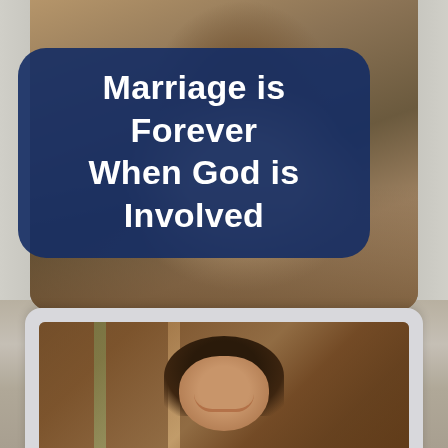[Figure (photo): Woman with dark hair wearing a white/cream cardigan over a dark top, sitting in front of bookshelves. A dark navy rounded rectangle overlay contains white text.]
Marriage is Forever When God is Involved
[Figure (photo): Smiling woman with long dark hair in front of bookshelves, shown inside a light gray tablet/screen frame at the bottom of the page.]